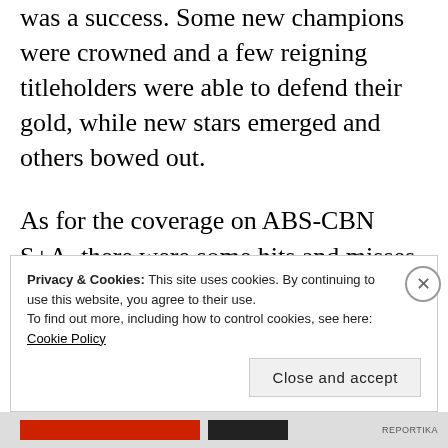was a success. Some new champions were crowned and a few reigning titleholders were able to defend their gold, while new stars emerged and others bowed out.
As for the coverage on ABS-CBN S+A, there were some hits and misses as well. Here is a look back at what the network was able to do in Season 80.
Privacy & Cookies: This site uses cookies. By continuing to use this website, you agree to their use. To find out more, including how to control cookies, see here: Cookie Policy
Close and accept